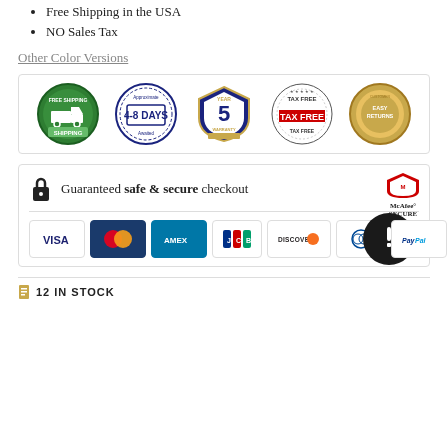Free Shipping in the USA
NO Sales Tax
Other Color Versions
[Figure (infographic): Five e-commerce trust badges: Free Shipping, 4-8 Days shipping, 5 Year Warranty, Tax Free, Easy Returns]
[Figure (infographic): Guaranteed safe & secure checkout banner with lock icon, McAfee SECURE badge, dark circle icon, and payment method logos: VISA, Mastercard, AMEX, JCB, DISCOVER, Diners Club, PayPal]
12 IN STOCK